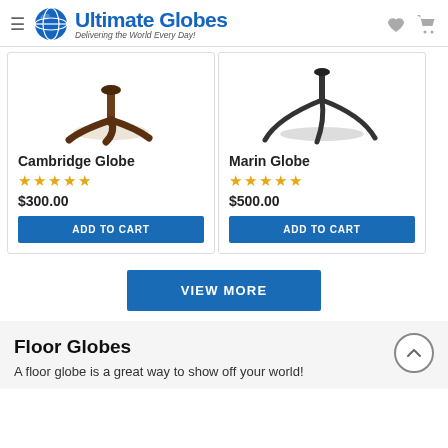Ultimate Globes — Delivering the World Every Day!
[Figure (illustration): Cambridge Globe product image showing a brown tripod stand base]
Cambridge Globe
★★★★★
$300.00
ADD TO CART
[Figure (illustration): Marin Globe product image showing a dark metal tripod stand base]
Marin Globe
★★★★★
$500.00
ADD TO CART
VIEW MORE
Floor Globes
A floor globe is a great way to show off your world!